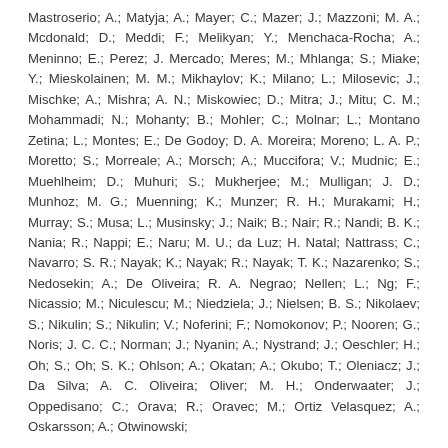Mastroserio; A.; Matyja; A.; Mayer; C.; Mazer; J.; Mazzoni; M. A.; Mcdonald; D.; Meddi; F.; Melikyan; Y.; Menchaca-Rocha; A.; Meninno; E.; Perez; J. Mercado; Meres; M.; Mhlanga; S.; Miake; Y.; Mieskolainen; M. M.; Mikhaylov; K.; Milano; L.; Milosevic; J.; Mischke; A.; Mishra; A. N.; Miskowiec; D.; Mitra; J.; Mitu; C. M.; Mohammadi; N.; Mohanty; B.; Mohler; C.; Molnar; L.; Montano Zetina; L.; Montes; E.; De Godoy; D. A. Moreira; Moreno; L. A. P.; Moretto; S.; Morreale; A.; Morsch; A.; Muccifora; V.; Mudnic; E.; Muehlheim; D.; Muhuri; S.; Mukherjee; M.; Mulligan; J. D.; Munhoz; M. G.; Muenning; K.; Munzer; R. H.; Murakami; H.; Murray; S.; Musa; L.; Musinsky; J.; Naik; B.; Nair; R.; Nandi; B. K.; Nania; R.; Nappi; E.; Naru; M. U.; da Luz; H. Natal; Nattrass; C.; Navarro; S. R.; Nayak; K.; Nayak; R.; Nayak; T. K.; Nazarenko; S.; Nedosekin; A.; De Oliveira; R. A. Negrao; Nellen; L.; Ng; F.; Nicassio; M.; Niculescu; M.; Niedziela; J.; Nielsen; B. S.; Nikolaev; S.; Nikulin; S.; Nikulin; V.; Noferini; F.; Nomokonov; P.; Nooren; G.; Noris; J. C. C.; Norman; J.; Nyanin; A.; Nystrand; J.; Oeschler; H.; Oh; S.; Oh; S. K.; Ohlson; A.; Okatan; A.; Okubo; T.; Oleniacz; J.; Da Silva; A. C. Oliveira; Oliver; M. H.; Onderwaater; J.; Oppedisano; C.; Orava; R.; Oravec; M.; Ortiz Velasquez; A.; Oskarsson; A.; Otwinowski;